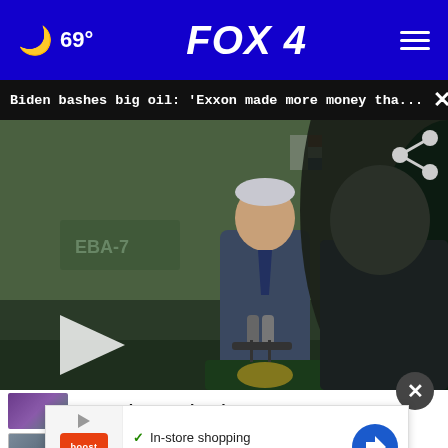🌙 69° FOX 4
Biden bashes big oil: 'Exxon made more money tha...
[Figure (photo): Video still of a man (Biden) speaking at a podium with microphones, with a silhouetted figure in the foreground right, green industrial background with EBA-7 sign, US flag visible. Play button overlay visible. Share icon top right.]
campaign on abortion
KC nuclear power plant to undergo...
In-store shopping  In-store pickup  ✗ Delivery  (Boost Mobile ad)